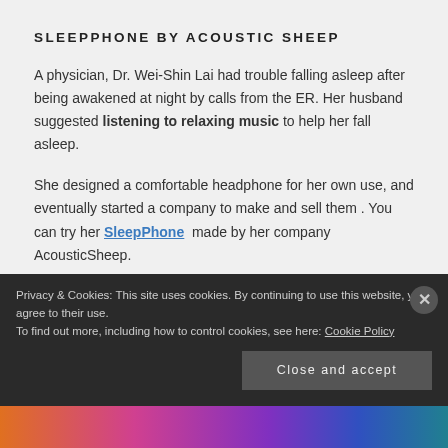SLEEPPHONE BY ACOUSTIC SHEEP
A physician, Dr. Wei-Shin Lai had trouble falling asleep after being awakened at night by calls from the ER. Her husband suggested listening to relaxing music to help her fall asleep.
She designed a comfortable headphone for her own use, and eventually started a company to make and sell them. You can try her SleepPhone made by her company AcousticSheep.
Privacy & Cookies: This site uses cookies. By continuing to use this website, you agree to their use. To find out more, including how to control cookies, see here: Cookie Policy
Close and accept